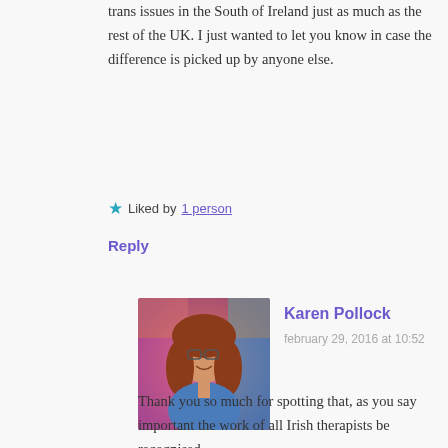trans issues in the South of Ireland just as much as the rest of the UK. I just wanted to let you know in case the difference is picked up by anyone else.
Liked by 1 person
Reply
[Figure (photo): Profile photo of Karen Pollock, a woman with long reddish-brown hair and glasses, smiling, wearing a blue top, in front of a colorful background]
Karen Pollock
february 29, 2016 at 10:52
Thank you so much for spotting that, as you say important the work of all Irish therapists be recognised
Like
Reply